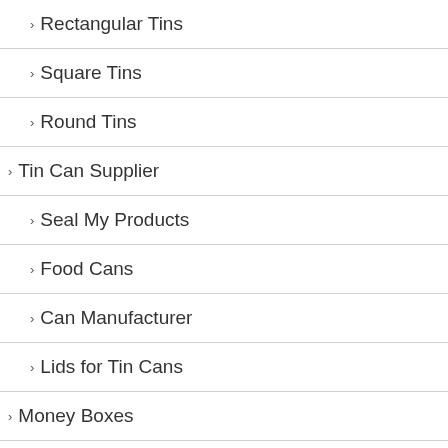Rectangular Tins
Square Tins
Round Tins
Tin Can Supplier
Seal My Products
Food Cans
Can Manufacturer
Lids for Tin Cans
Money Boxes
Money Tins
Piggy Banks